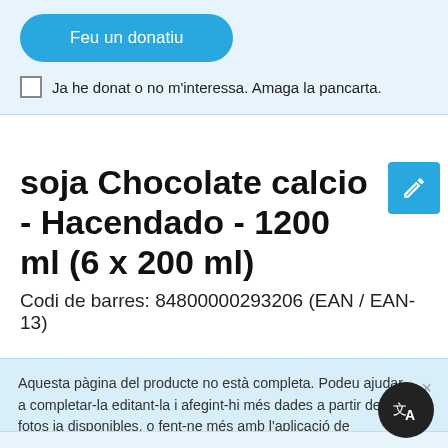[Figure (screenshot): Donation banner with blue 'Feu un donatiu' button and checkbox 'Ja he donat o no m'interessa. Amaga la pancarta.']
soja Chocolate calcio - Hacendado - 1200 ml (6 x 200 ml)
Codi de barres: 84800000293206 (EAN / EAN-13)
Aquesta pàgina del producte no està completa. Podeu ajudar a completar-la editant-la i afegint-hi més dades a partir de les fotos ja disponibles, o fent-ne més amb l'aplicació de androide o iPhone / iPad. Gràcies!